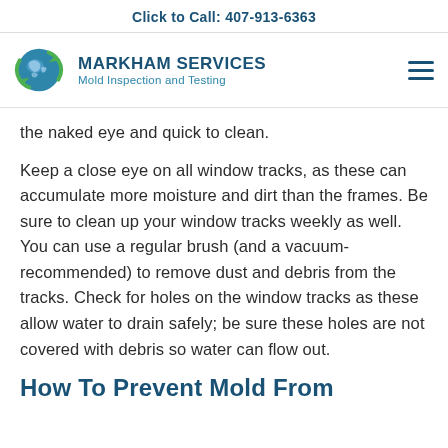Click to Call: 407-913-6363
[Figure (logo): Markham Services logo with globe and green arrows, company name MARKHAM SERVICES Mold Inspection and Testing]
the naked eye and quick to clean.
Keep a close eye on all window tracks, as these can accumulate more moisture and dirt than the frames. Be sure to clean up your window tracks weekly as well. You can use a regular brush (and a vacuum-recommended) to remove dust and debris from the tracks. Check for holes on the window tracks as these allow water to drain safely; be sure these holes are not covered with debris so water can flow out.
How To Prevent Mold From